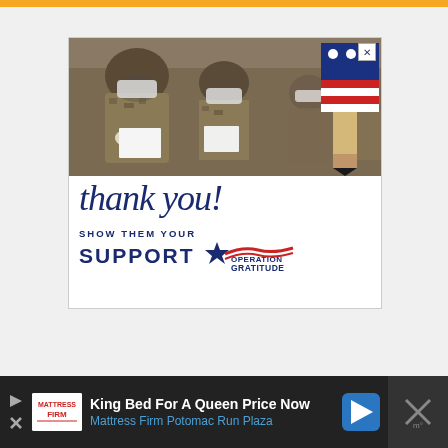[Figure (photo): Advertisement: Military soldiers in camouflage uniforms and face masks looking at papers, with an Operation Gratitude 'Thank you! Show them your Support' message overlay featuring a pencil-shaped American flag graphic.]
[Figure (infographic): Bottom banner advertisement for Mattress Firm Potomac Run Plaza - 'King Bed For A Queen Price Now' with logo, blue navigation arrow icon, and close button.]